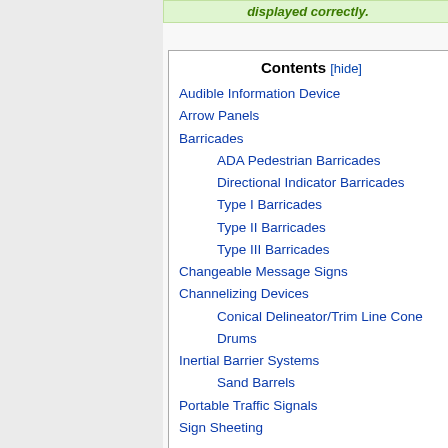displayed correctly.
Contents [hide]
Audible Information Device
Arrow Panels
Barricades
ADA Pedestrian Barricades
Directional Indicator Barricades
Type I Barricades
Type II Barricades
Type III Barricades
Changeable Message Signs
Channelizing Devices
Conical Delineator/Trim Line Cone
Drums
Inertial Barrier Systems
Sand Barrels
Portable Traffic Signals
Sign Sheeting